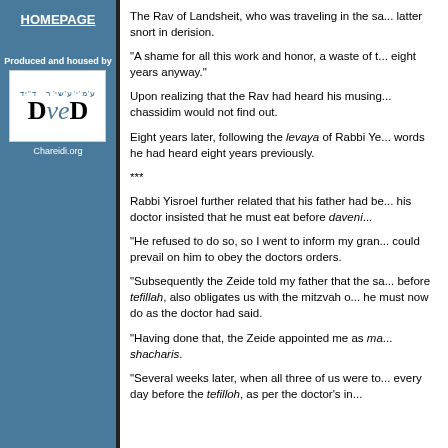HOMEPAGE
[Figure (logo): DVeD / Chareidi.org logo with Hebrew text and stylized letters D, Ve, D]
The Rav of Landsheit, who was traveling in the same coach, heard the latter snort in derision.
"A shame for all this work and honor, a waste of time — he won't live eight years anyway."
Upon realizing that the Rav had heard his musings, he begged that the chassidim would not find out.
Eight years later, following the levaya of Rabbi Ye... words he had heard eight years previously.
***
Rabbi Yisroel further related that his father had be... his doctor insisted that he must eat before daveni...
"He refused to do so, so I went to inform my gran... could prevail on him to obey the doctors orders.
"Subsequently the Zeide told my father that the sa... before tefillah, also obligates us with the mitzvah o... he must now do as the doctor had said.
"Having done that, the Zeide appointed me as ma... shacharis.
"Several weeks later, when all three of us were to... every day before the tefilloh, as per the doctor's in...